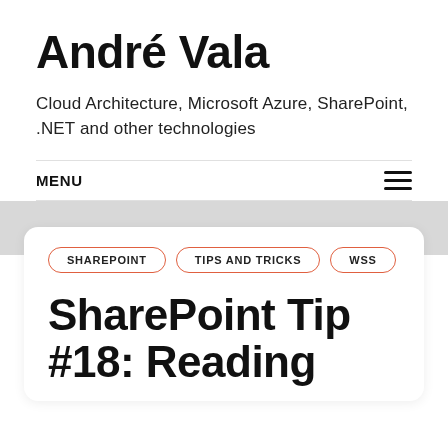André Vala
Cloud Architecture, Microsoft Azure, SharePoint, .NET and other technologies
MENU
SHAREPOINT   TIPS AND TRICKS   WSS
SharePoint Tip #18: Reading